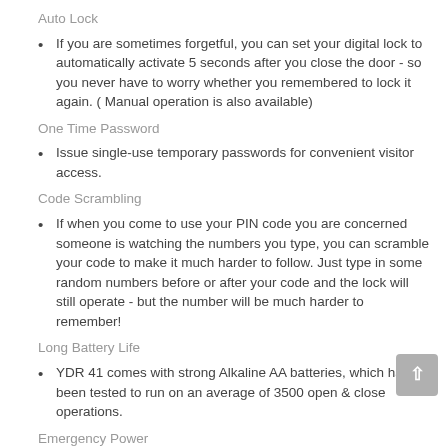Auto Lock
If you are sometimes forgetful, you can set your digital lock to automatically activate 5 seconds after you close the door - so you never have to worry whether you remembered to lock it again. ( Manual operation is also available)
One Time Password
Issue single-use temporary passwords for convenient visitor access.
Code Scrambling
If when you come to use your PIN code you are concerned someone is watching the numbers you type, you can scramble your code to make it much harder to follow. Just type in some random numbers before or after your code and the lock will still operate - but the number will be much harder to remember!
Long Battery Life
YDR 41 comes with strong Alkaline AA batteries, which have been tested to run on an average of 3500 open & close operations.
Emergency Power